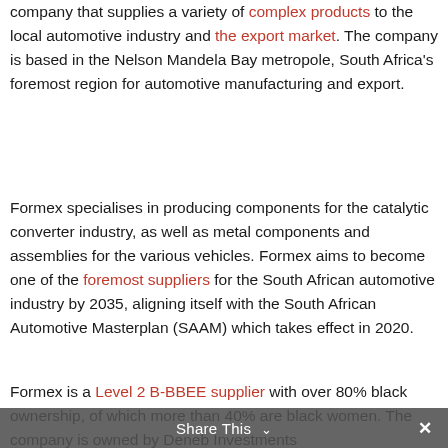company that supplies a variety of complex products to the local automotive industry and the export market. The company is based in the Nelson Mandela Bay metropole, South Africa's foremost region for automotive manufacturing and export.
Formex specialises in producing components for the catalytic converter industry, as well as metal components and assemblies for the various vehicles. Formex aims to become one of the foremost suppliers for the South African automotive industry by 2035, aligning itself with the South African Automotive Masterplan (SAAM) which takes effect in 2020.
Formex is a Level 2 B-BBEE supplier with over 80% black ownership, of which more than 40% are black women. The company is owned by Deneb Investments
Share This